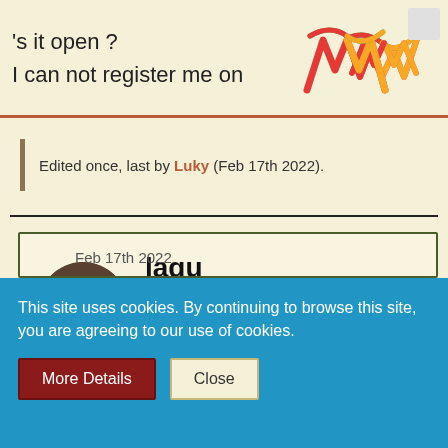is it open ?
I can not register me on
Edited once, last by Luky (Feb 17th 2022).
lagu
Team Manager
TM
Feb 17th 2022
This site uses cookies. By continuing to browse this site, you are agreeing to our use of cookies.